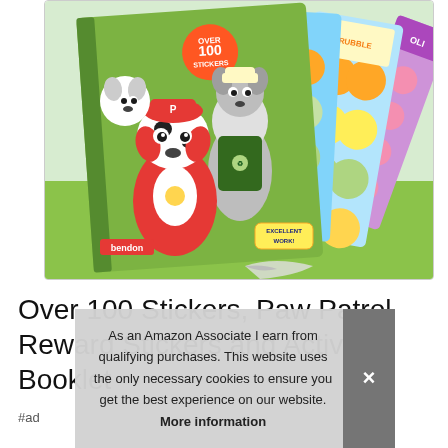[Figure (photo): Product image of Paw Patrol Over 100 Stickers Reward Stickers and Activity Booklet by Bendon, showing cartoon dog characters Marshall and Rocky on a green book cover with sticker sheets fanned out to the right]
Over 100 Stickers, Paw Patrol Reward Stickers and Activity Booklet
#ad
As an Amazon Associate I earn from qualifying purchases. This website uses the only necessary cookies to ensure you get the best experience on our website. More information